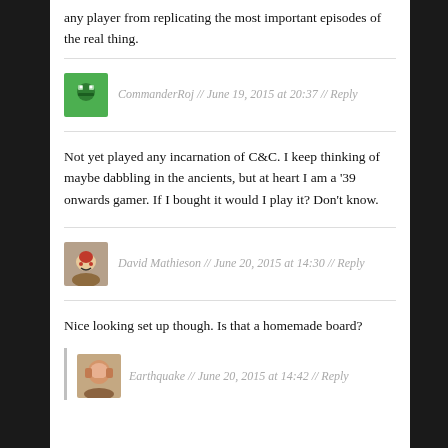any player from replicating the most important episodes of the real thing.
CommanderRoj // June 19, 2015 at 20:37 // Reply
Not yet played any incarnation of C&C. I keep thinking of maybe dabbling in the ancients, but at heart I am a '39 onwards gamer. If I bought it would I play it? Don't know.
David Mathieson // June 20, 2015 at 14:30 // Reply
Nice looking set up though. Is that a homemade board?
Earthquake // June 20, 2015 at 14:42 // Reply